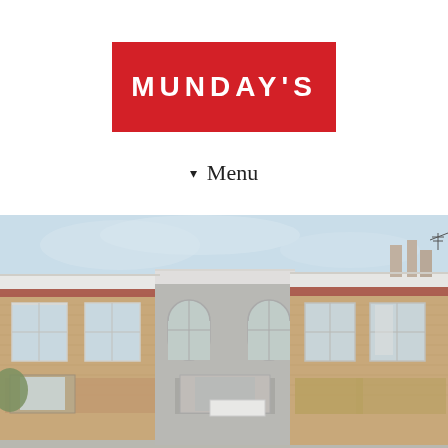[Figure (logo): Munday's logo: white text 'MUNDAY'S' on a red rectangle background]
▾ Menu
[Figure (photo): Photograph of a row of London terraced houses with brick facades, white-painted stucco render on the middle property, sash windows, bay windows at ground level, and a blue sky with light clouds above.]